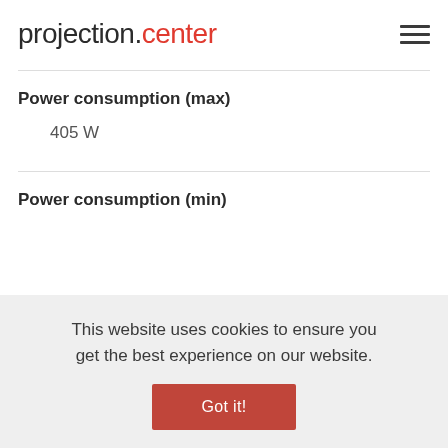projection.center
Power consumption (max)
405 W
Power consumption (min)
This website uses cookies to ensure you get the best experience on our website.